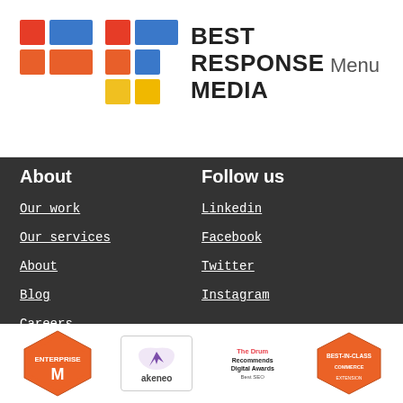[Figure (logo): Best Response Media logo with colored grid squares and bold text]
Menu
About
Follow us
Our work
Linkedin
Our services
Facebook
About
Twitter
Blog
Instagram
Careers
[Figure (logo): Magento Enterprise badge/logo]
[Figure (logo): Akeneo logo badge]
[Figure (logo): The Drum Recommends Digital Awards badge]
[Figure (logo): Magento Commerce logo badge]